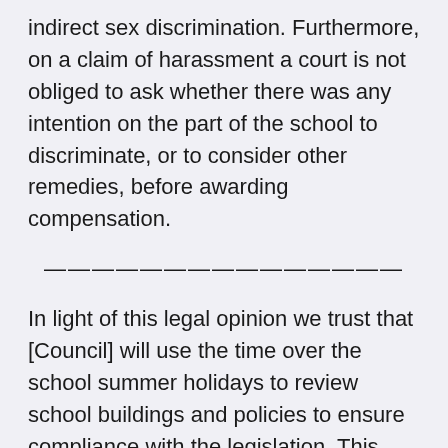indirect sex discrimination. Furthermore, on a claim of harassment a court is not obliged to ask whether there was any intention on the part of the school to discriminate, or to consider other remedies, before awarding compensation.
———————————————
In light of this legal opinion we trust that [Council] will use the time over the school summer holidays to review school buildings and policies to ensure compliance with the legislation. This includes:
Building plans and warrants for new-build schools or refurbishment of toilets to provide for separate-sex toilets for pupils;